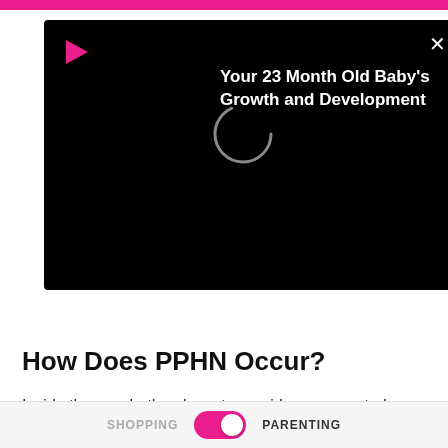[Figure (screenshot): Black video overlay panel with a red play triangle icon top-left, a circular loading spinner, a white X close button top-right, and white bold text reading 'Your 23 Month Old Baby's Growth and Development']
[Figure (other): Light grey close button box with an X symbol, positioned below the video overlay]
How Does PPHN Occur?
Inside the womb, the placenta provides oxygenated blood to the baby. This allows the baby's lungs to remain non-
SHOPPING   [toggle]   PARENTING